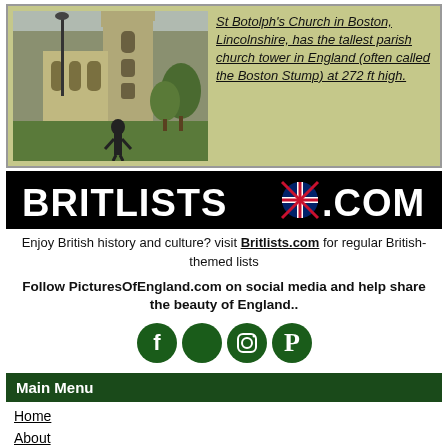[Figure (photo): Photo of St Botolph's Church (Boston Stump) in Boston, Lincolnshire, showing a tall Gothic tower with a person standing in the foreground on a lawn]
St Botolph's Church in Boston, Lincolnshire, has the tallest parish church tower in England (often called the Boston Stump) at 272 ft high.
[Figure (logo): Britlists.com banner logo in white text on black background with a UK flag icon as a dot]
Enjoy British history and culture? visit Britlists.com for regular British-themed lists
Follow PicturesOfEngland.com on social media and help share the beauty of England..
[Figure (infographic): Social media icons: Facebook, Twitter, Instagram, Pinterest — dark green circles]
Main Menu
Home
About
Join
Login